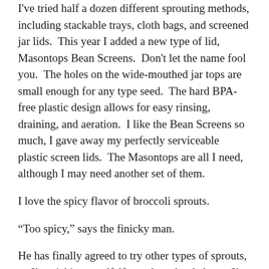I've tried half a dozen different sprouting methods, including stackable trays, cloth bags, and screened jar lids.  This year I added a new type of lid, Masontops Bean Screens.  Don't let the name fool you.  The holes on the wide-mouthed jar tops are small enough for any type seed.  The hard BPA-free plastic design allows for easy rinsing, draining, and aeration.  I like the Bean Screens so much, I gave away my perfectly serviceable plastic screen lids.  The Masontops are all I need, although I may need another set of them.
I love the spicy flavor of broccoli sprouts.
“Too spicy,” says the finicky man.
He has finally agreed to try other types of sprouts, so I’m picking up alfalfa seeds and red clover. I’m mixing up my own salad mix, too.
We eat a lot out of the canning pantry in winter.  I’m